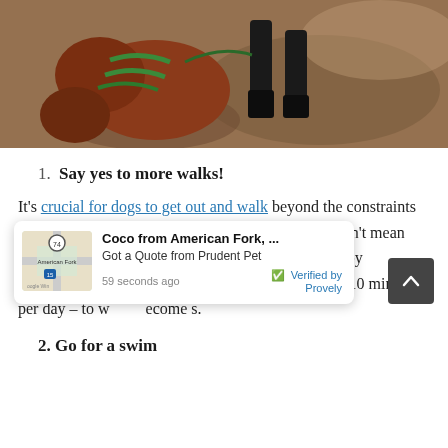[Figure (photo): A person walking a dog on a dirt trail, view from above showing the dog (reddish-brown with green harness) and the person's black boots on brown earth.]
1. Say yes to more walks!
It's crucial for dogs to get out and walk beyond the constraints of a backyard. Just because dogs are outside, it doesn't mean they are getting proper exercise on their own. Start by committing even just a small amount of time – like 10 minutes per day – to w... become s...
2. Go for a swim